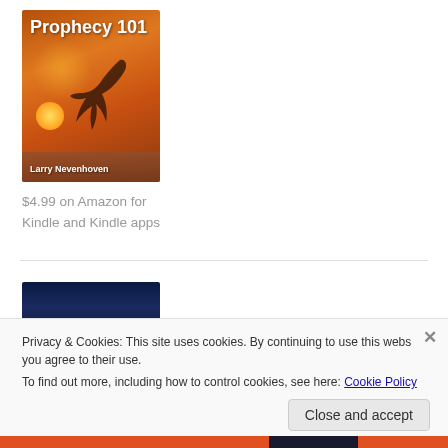[Figure (illustration): Book cover for 'Prophecy 101' by Larry Nevenhoven. Orange/sunset background with eagle silhouette and sun over water.]
$4.99 on Amazon for Kindle and Kindle apps
[Figure (illustration): Partial book cover with dark blue/night sky background and light glow.]
Privacy & Cookies: This site uses cookies. By continuing to use this website, you agree to their use.
To find out more, including how to control cookies, see here: Cookie Policy
Close and accept